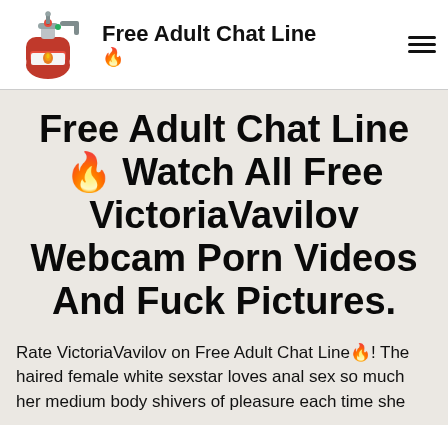Free Adult Chat Line 🔥
Free Adult Chat Line 🔥 Watch All Free VictoriaVavilov Webcam Porn Videos And Fuck Pictures.
Rate VictoriaVavilov on Free Adult Chat Line🔥! The haired female white sexstar loves anal sex so much her medium body shivers of pleasure each time she